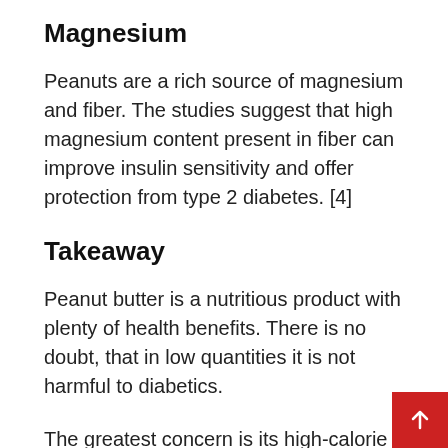Magnesium
Peanuts are a rich source of magnesium and fiber. The studies suggest that high magnesium content present in fiber can improve insulin sensitivity and offer protection from type 2 diabetes. [4]
Takeaway
Peanut butter is a nutritious product with plenty of health benefits. There is no doubt, that in low quantities it is not harmful to diabetics.
The greatest concern is its high-calorie conten so make sure to eat in moderate amounts and